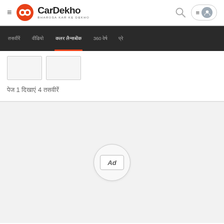CarDekho - BHAROSA KAR KE DEKHO
Navigation bar with menu items in Hindi/regional script and 360 option
[Figure (screenshot): Two thumbnail image placeholders side by side]
पेज 1 दिखाएँ 4 तस्वीरें
[Figure (other): Ad placeholder badge in light grey area]